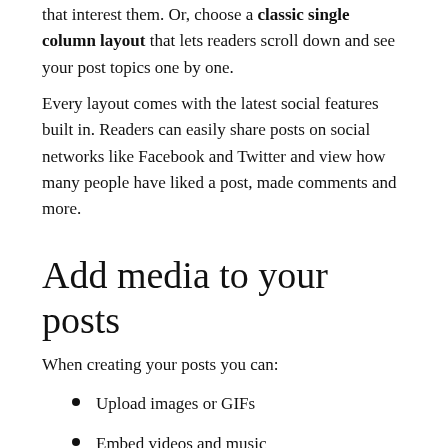that interest them. Or, choose a classic single column layout that lets readers scroll down and see your post topics one by one.
Every layout comes with the latest social features built in. Readers can easily share posts on social networks like Facebook and Twitter and view how many people have liked a post, made comments and more.
Add media to your posts
When creating your posts you can:
Upload images or GIFs
Embed videos and music
Create galleries to showcase a